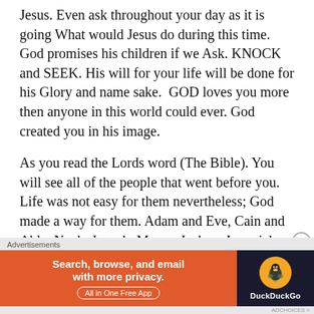Jesus. Even ask throughout your day as it is going What would Jesus do during this time. God promises his children if we Ask. KNOCK and SEEK. His will for your life will be done for his Glory and name sake.  GOD loves you more then anyone in this world could ever. God created you in his image.
As you read the Lords word (The Bible). You will see all of the people that went before you. Life was not easy for them nevertheless; God made a way for them. Adam and Eve, Cain and Able, Noah, Joseph, Moses, Joshua, Jeremiah, Daniel, Samuel Ruth, Esther, Peter, Paul, The Blind Man, Rahab, Mary, Martha, Lazarus, The Lady at the Well, Tabitha, The Man at the Pool of Bethesda ,John, and so many
Advertisements
[Figure (infographic): DuckDuckGo advertisement banner. Orange left section with text 'Search, browse, and email with more privacy.' and 'All in One Free App'. Dark right section with DuckDuckGo duck logo and brand name.]